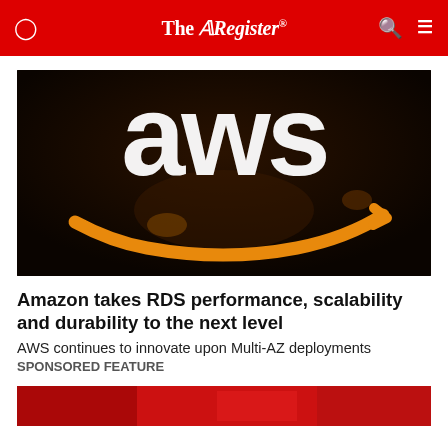The Register
[Figure (photo): AWS logo — large white letters 'aws' with Amazon orange arrow/smile below, dark background]
Amazon takes RDS performance, scalability and durability to the next level
AWS continues to innovate upon Multi-AZ deployments
SPONSORED FEATURE
[Figure (photo): Partial bottom image — red-toned photo, partially cropped]